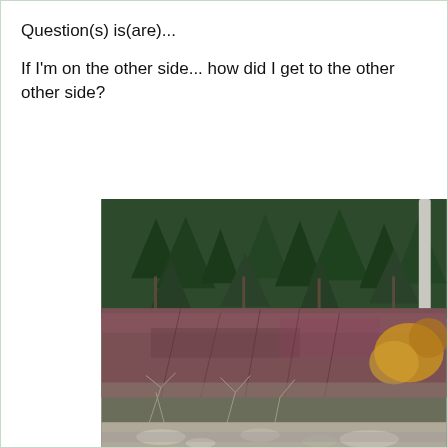Question(s) is(are)...
If I'm on the other side... how did I get to the other other side?
[Figure (photo): Outdoor nature photo showing a dense forest with evergreen conifer trees in the background, reddish-purple shrubs in the middle ground, bare white/grey shrubs in the foreground, yellow-orange fall foliage on the right, and rocky stream bed visible at the bottom.]